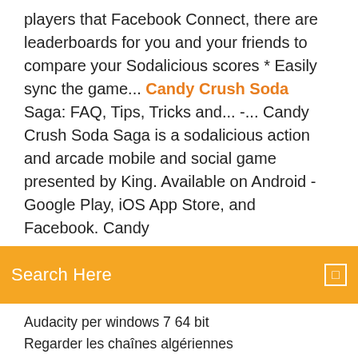players that Facebook Connect, there are leaderboards for you and your friends to compare your Sodalicious scores * Easily sync the game... Candy Crush Soda Saga: FAQ, Tips, Tricks and... -... Candy Crush Soda Saga is a sodalicious action and arcade mobile and social game presented by King. Available on Android - Google Play, iOS App Store, and Facebook. Candy
[Figure (screenshot): Orange search bar with 'Search Here' placeholder text and a small square icon on the right]
Audacity per windows 7 64 bit
Regarder les chaînes algériennes
Traduire éditeur de logiciel en anglais
Comment telecharger des musique sur mon portable
Le jeu le plus telecharger sur android
Iphone 4 ios 8 télécharger free
Télécharger - mac os x 10.5.8 - mise à jour combinée
Gacha studio (anime dress up) descargar
Yu-gi-oh duel links تحميل